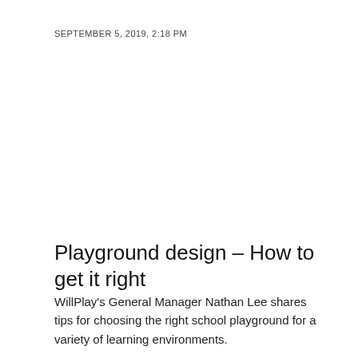SEPTEMBER 5, 2019, 2:18 PM
Playground design – How to get it right
WillPlay's General Manager Nathan Lee shares tips for choosing the right school playground for a variety of learning environments.